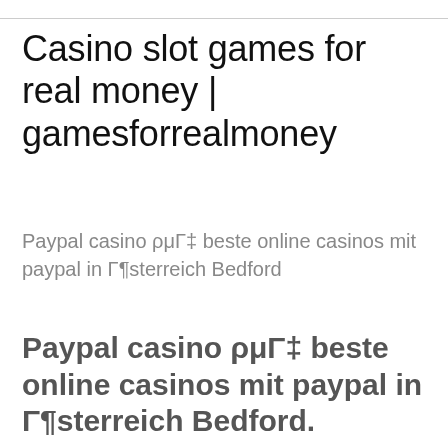Casino slot games for real money | gamesforrealmoney
Paypal casino ρμΓ‡ beste online casinos mit paypal in Γ¶sterreich Bedford
Paypal casino ρμΓ‡ beste online casinos mit paypal in Γ¶sterreich Bedford.